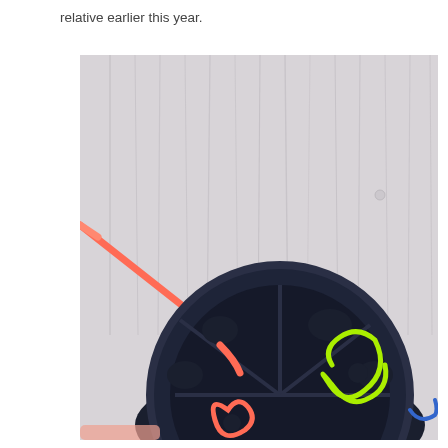relative earlier this year.
[Figure (photo): Close-up photo of a black spool/reel with an orange/coral plastic tool inserted into it, a neon green cord or wire looped inside the spool, and another orange loop visible. The background is a light gray textured wooden surface.]